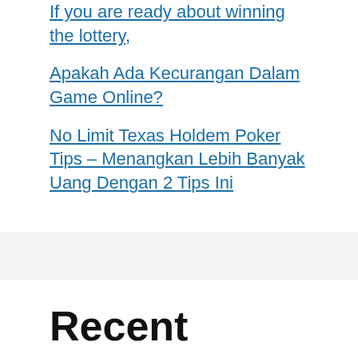If you are ready about winning the lottery,
Apakah Ada Kecurangan Dalam Game Online?
No Limit Texas Holdem Poker Tips – Menangkan Lebih Banyak Uang Dengan 2 Tips Ini
Recent Comments
No comments to show.
Slot Deposit Pulsa Tanpa Potongan